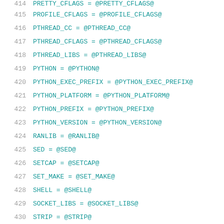414 PRETTY_CFLAGS = @PRETTY_CFLAGS@
415 PROFILE_CFLAGS = @PROFILE_CFLAGS@
416 PTHREAD_CC = @PTHREAD_CC@
417 PTHREAD_CFLAGS = @PTHREAD_CFLAGS@
418 PTHREAD_LIBS = @PTHREAD_LIBS@
419 PYTHON = @PYTHON@
420 PYTHON_EXEC_PREFIX = @PYTHON_EXEC_PREFIX@
421 PYTHON_PLATFORM = @PYTHON_PLATFORM@
422 PYTHON_PREFIX = @PYTHON_PREFIX@
423 PYTHON_VERSION = @PYTHON_VERSION@
424 RANLIB = @RANLIB@
425 SED = @SED@
426 SETCAP = @SETCAP@
427 SET_MAKE = @SET_MAKE@
428 SHELL = @SHELL@
429 SOCKET_LIBS = @SOCKET_LIBS@
430 STRIP = @STRIP@
431 UNWIND_CFLAGS = @UNWIND_CFLAGS@
432 UNWIND_LIBS = @UNWIND_LIBS@
433 USE_NLS = @USE_NLS@
434 VALGRIND_CFLAGS = @VALGRIND_CFLAGS@
435 VALGRIND_LIBS = @VALGRIND_LIBS@